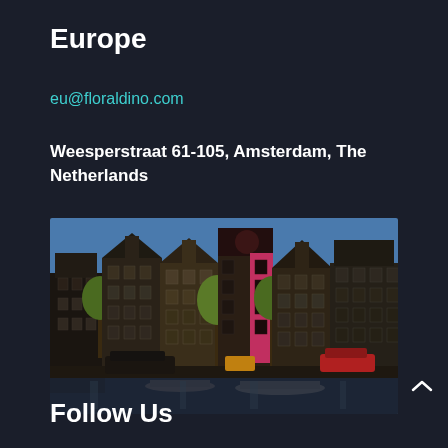Europe
eu@floraldino.com
Weesperstraat 61-105, Amsterdam,  The Netherlands
[Figure (photo): Photograph of Amsterdam canal houses along the Weesperstraat waterfront, with historic Dutch gabled buildings, trees, boats on the canal, and parked cars along the street under a blue sky.]
Follow Us